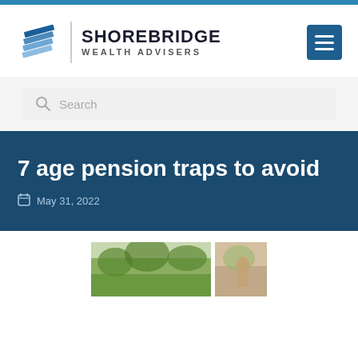[Figure (logo): Shorebridge Wealth Advisers logo with diamond/chevron icon and hamburger menu button]
Search
7 age pension traps to avoid
May 31, 2022
[Figure (photo): Partial photo of people outdoors under trees]